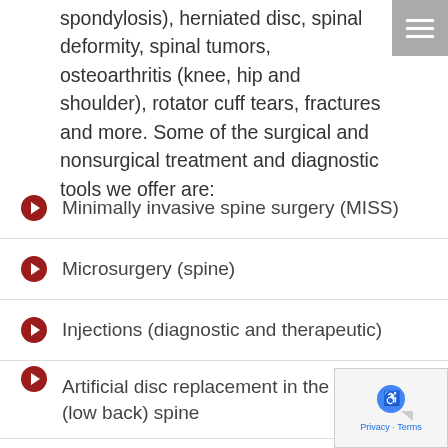spondylosis), herniated disc, spinal deformity, spinal tumors, osteoarthritis (knee, hip and shoulder), rotator cuff tears, fractures and more. Some of the surgical and nonsurgical treatment and diagnostic tools we offer are:
Minimally invasive spine surgery (MISS)
Microsurgery (spine)
Injections (diagnostic and therapeutic)
Artificial disc replacement in the lumbar (low back) spine
Artificial disc replacement in cervical (neck) s…
Spinal fusion